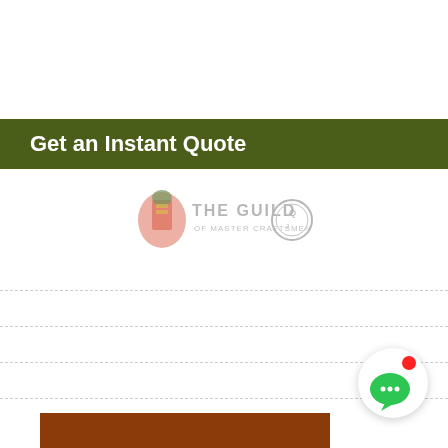Get an Instant Quote
[Figure (logo): The Guild of Master Craftsmen logo with coat of arms and circular emblem]
[Figure (other): Chat bubble button with red notification dot and green speech bubble icon]
[Figure (other): Brown/orange rectangular panel at the bottom of the page]